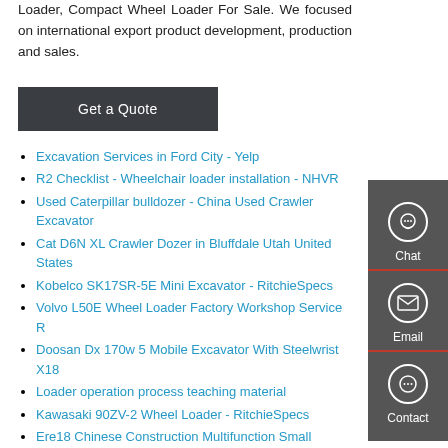Loader, Compact Wheel Loader For Sale. We focused on international export product development, production and sales.
[Figure (other): Get a Quote button - dark gray rectangular button]
Excavation Services in Ford City - Yelp
R2 Checklist - Wheelchair loader installation - NHVR
Used Caterpillar bulldozer - China Used Crawler Excavator
Cat D6N XL Crawler Dozer in Bluffdale Utah United States
Kobelco SK17SR-5E Mini Excavator - RitchieSpecs
Volvo L50E Wheel Loader Factory Workshop Service R...
Doosan Dx 170w 5 Mobile Excavator With Steelwrist X18
Loader operation process teaching material
Kawasaki 90ZV-2 Wheel Loader - RitchieSpecs
Ere18 Chinese Construction Multifunction Small Digger Mini
Iklan - iklan Sany sy75 excavator bekas pakai untuk dijual
Rexroth CAT KOBELCO DOOSAN Excavator Handles Brand New...
[Figure (infographic): Sidebar with Chat, Email, and Contact icons on dark gray background with red bottom borders]